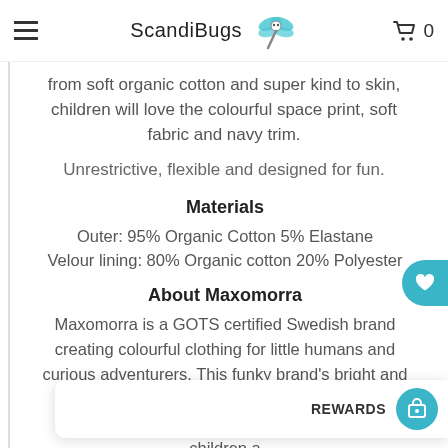ScandiBugs
from soft organic cotton and super kind to skin, children will love the colourful space print, soft fabric and navy trim.

Unrestrictive, flexible and designed for fun.
Materials
Outer: 95% Organic Cotton 5% Elastane
Velour lining: 80% Organic cotton 20% Polyester
About Maxomorra
Maxomorra is a GOTS certified Swedish brand creating colourful clothing for little humans and curious adventurers. This funky brand's bright and bold prints and colours fit in so well with the ScandiBugs ethos of clothes t to dress and like children a